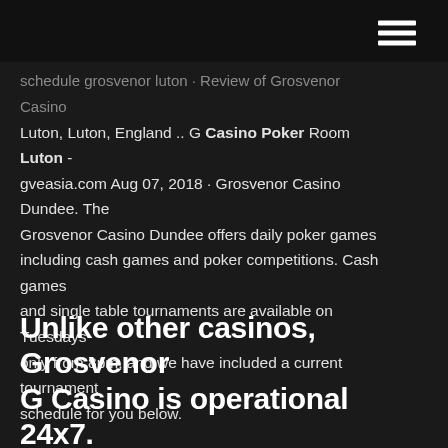[Navigation bar with hamburger menu]
schedule grosvenor luton · Review of Grosvenor Casino Luton, Luton, England .. G Casino Poker Room Luton - gveasia.com Aug 07, 2018 · Grosvenor Casino Dundee. The Grosvenor Casino Dundee offers daily poker games including cash games and poker competitions. Cash games and single table tournaments are available on Tuesdays only from 8pm, and we have included a current tournament schedule for you below.
Unlike other casinos, Grosvenor G Casino is operational 24x7. Alongside table games like poker, roulette and blackjack, this casino also has a restaurant, a